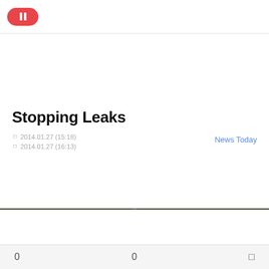Pause button header bar
Stopping Leaks
ㅁ 2014.01.27 (15:18)
ㅁ 2014.01.27 (16:13)
News Today
0   0   ㅁ